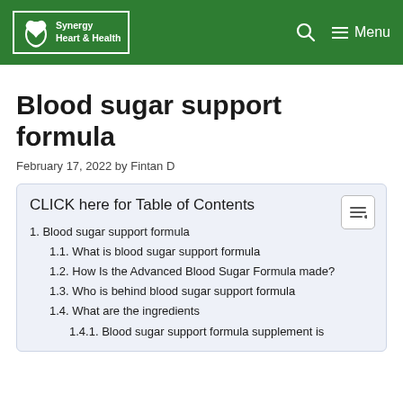Synergy Heart & Health | Menu
Blood sugar support formula
February 17, 2022 by Fintan D
CLICK here for Table of Contents
1. Blood sugar support formula
1.1. What is blood sugar support formula
1.2. How Is the Advanced Blood Sugar Formula made?
1.3. Who is behind blood sugar support formula
1.4. What are the ingredients
1.4.1. Blood sugar support formula supplement is